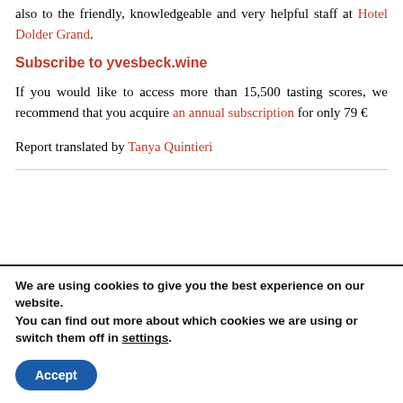also to the friendly, knowledgeable and very helpful staff at Hotel Dolder Grand.
Subscribe to yvesbeck.wine
If you would like to access more than 15,500 tasting scores, we recommend that you acquire an annual subscription for only 79 €
Report translated by Tanya Quintieri
We are using cookies to give you the best experience on our website.
You can find out more about which cookies we are using or switch them off in settings.
Accept